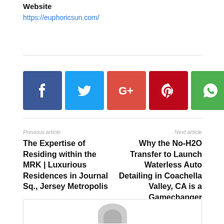Website
https://euphoricsun.com/
[Figure (infographic): Row of five social media share buttons: Facebook (dark blue, f icon), Twitter (light blue, bird icon), Google+ (red-orange, G+ icon), Pinterest (dark red, p icon), WhatsApp (green, phone/chat icon)]
Previous article
The Expertise of Residing within the MRK | Luxurious Residences in Journal Sq., Jersey Metropolis
Next article
Why the No-H2O Transfer to Launch Waterless Auto Detailing in Coachella Valley, CA is a Gamechanger
[Figure (illustration): Author avatar placeholder — grey rounded silhouette shape at the bottom of the page inside a bordered box]